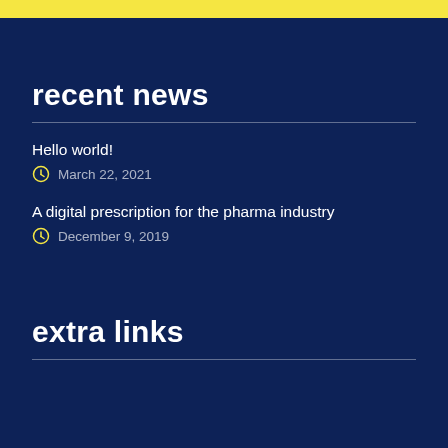recent news
Hello world!
March 22, 2021
A digital prescription for the pharma industry
December 9, 2019
extra links